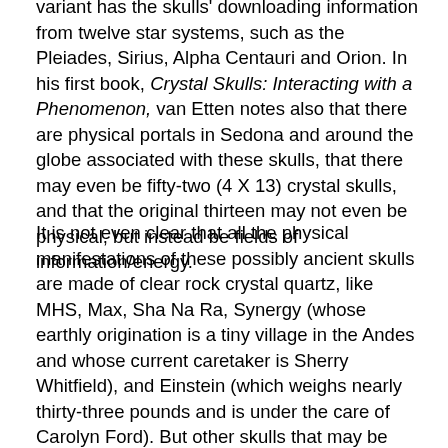variant has the skulls' downloading information from twelve star systems, such as the Pleiades, Sirius, Alpha Centauri and Orion. In his first book, Crystal Skulls: Interacting with a Phenomenon, van Etten notes also that there are physical portals in Sedona and around the globe associated with these skulls, that there may even be fifty-two (4 X 13) crystal skulls, and that the original thirteen may not even be physical, but instead be fields of information/energy.
It is not even clear that all the physical manifestations of these possibly ancient skulls are made of clear rock crystal quartz, like MHS, Max, Sha Na Ra, Synergy (whose earthly origination is a tiny village in the Andes and whose current caretaker is Sherry Whitfield), and Einstein (which weighs nearly thirty-three pounds and is under the care of Carolyn Ford). But other skulls that may be ancient